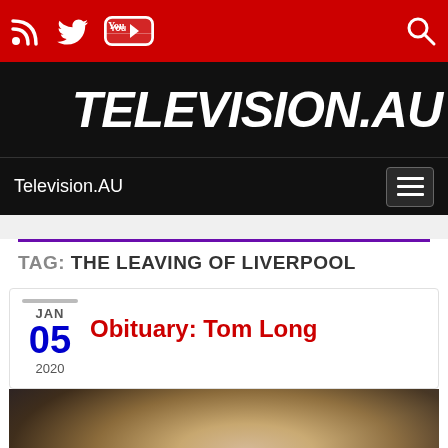Television.AU - social bar with RSS, Twitter, YouTube icons and search
TELEVISION.AU
Television.AU
TAG: THE LEAVING OF LIVERPOOL
JAN 05 2020
Obituary: Tom Long
[Figure (photo): Blurred close-up photo of a person, partially visible face with dark hair]